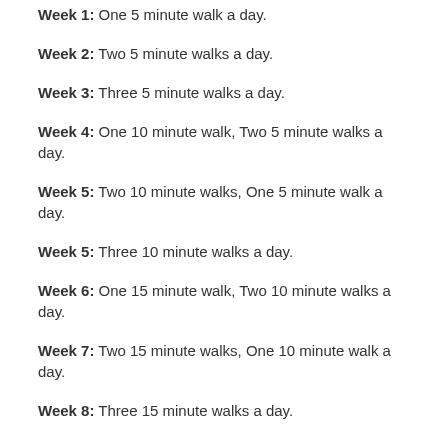Week 1: One 5 minute walk a day.
Week 2: Two 5 minute walks a day.
Week 3: Three 5 minute walks a day.
Week 4: One 10 minute walk, Two 5 minute walks a day.
Week 5: Two 10 minute walks, One 5 minute walk a day.
Week 5: Three 10 minute walks a day.
Week 6: One 15 minute walk, Two 10 minute walks a day.
Week 7: Two 15 minute walks, One 10 minute walk a day.
Week 8: Three 15 minute walks a day.